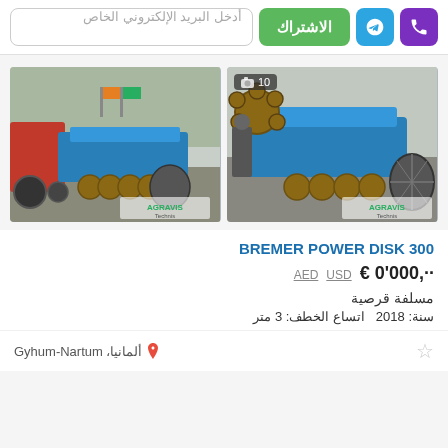أدخل البريد الإلكتروني الخاص | الاشتراك
[Figure (photo): Two photos of a blue BREMER POWER DISK 300 disc harrow agricultural machine, shown attached to a red tractor on the left and a close-up on the right. Both images have AGRAVIS Technik watermark. The right image has a camera icon and the number 10.]
BREMER POWER DISK 300
€ 0'000,·· USD AED
مسلفة قرصية
سنة: 2018  اتساع الخطف: 3 متر
ألمانيا، Gyhum-Nartum